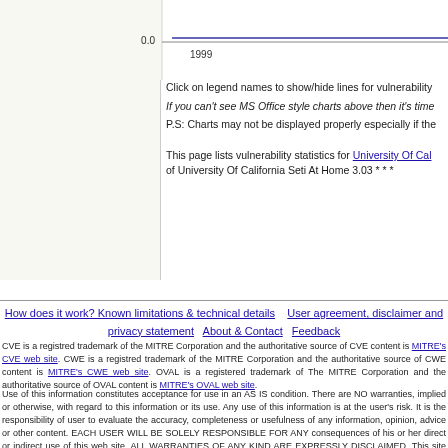[Figure (continuous-plot): Partial line chart visible at top of page showing a y-axis value of 0.0 and x-axis label 1999, with a blue horizontal line near the zero baseline]
Click on legend names to show/hide lines for vulnerability
If you can't see MS Office style charts above then it's time...
P.S: Charts may not be displayed properly especially if the...
This page lists vulnerability statistics for University Of California... of University Of California Seti At Home 3.03 * * *
How does it work? Known limitations & technical details   User agreement, disclaimer and privacy statement   About & Contact   Feedback
CVE is a registred trademark of the MITRE Corporation and the authoritative source of CVE content is MITRE's CVE web site. CWE is a registred trademark of the MITRE Corporation and the authoritative source of CWE content is MITRE's CWE web site. OVAL is a registered trademark of The MITRE Corporation and the authoritative source of OVAL content is MITRE's OVAL web site.
Use of this information constitutes acceptance for use in an AS IS condition. There are NO warranties, implied or otherwise, with regard to this information or its use. Any use of this information is at the user's risk. It is the responsibility of user to evaluate the accuracy, completeness or usefulness of any information, opinion, advice or other content. EACH USER WILL BE SOLELY RESPONSIBLE FOR ANY consequences of his or her direct or indirect use of this web site. ALL WARRANTIES OF ANY KIND ARE EXPRESSLY DISCLAIMED. This site will NOT BE LIABLE FOR ANY DIRECT, INDIRECT or any other kind of loss.